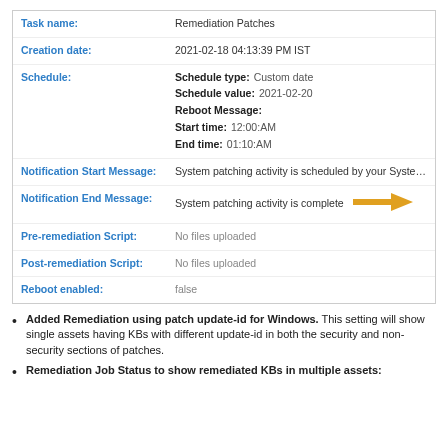| Task name: | Remediation Patches |
| Creation date: | 2021-02-18 04:13:39 PM IST |
| Schedule: | Schedule type: Custom date
Schedule value: 2021-02-20
Reboot Message:
Start time: 12:00:AM
End time: 01:10:AM |
| Notification Start Message: | System patching activity is scheduled by your System Administrator. Please ensure to backup your work. |
| Notification End Message: | System patching activity is complete |
| Pre-remediation Script: | No files uploaded |
| Post-remediation Script: | No files uploaded |
| Reboot enabled: | false |
Added Remediation using patch update-id for Windows. This setting will show single assets having KBs with different update-id in both the security and non-security sections of patches.
Remediation Job Status to show remediated KBs in multiple assets: